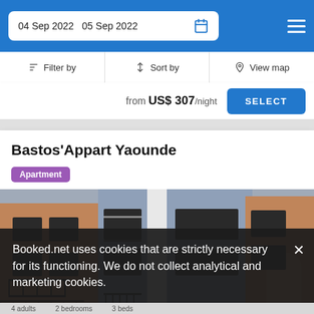04 Sep 2022  05 Sep 2022
Filter by  |  Sort by  |  View map
from US$ 307/night  SELECT
Bastos'Appart Yaounde
Apartment
[Figure (photo): Exterior photo of Bastos'Appart Yaounde – a multi-storey building with grey/blue painted facade, orange/terracotta walls, black iron balcony railings, and arched entrance]
Booked.net uses cookies that are strictly necessary for its functioning. We do not collect analytical and marketing cookies.
4 adults  2 bedrooms  3 beds